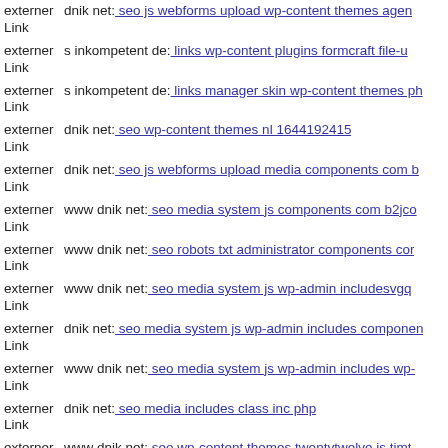externer Link dnik net: seo js webforms upload wp-content themes agency
externer Link s inkompetent de: links wp-content plugins formcraft file-u
externer Link s inkompetent de: links manager skin wp-content themes ph
externer Link dnik net: seo wp-content themes nl 1644192415
externer Link dnik net: seo js webforms upload media components com b
externer Link www dnik net: seo media system js components com b2jco
externer Link www dnik net: seo robots txt administrator components com
externer Link www dnik net: seo media system js wp-admin includesvgq
externer Link dnik net: seo media system js wp-admin includes componen
externer Link www dnik net: seo media system js wp-admin includes wp-
externer Link dnik net: seo media includes class inc php
externer Link www dnik net: seo wp-content themes twentytwelve js timt